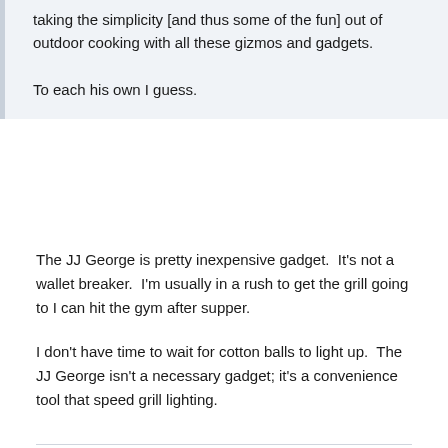taking the simplicity [and thus some of the fun] out of outdoor cooking with all these gizmos and gadgets.

To each his own I guess.
The JJ George is pretty inexpensive gadget.  It's not a wallet breaker.  I'm usually in a rush to get the grill going to I can hit the gym after supper.
I don't have time to wait for cotton balls to light up.  The JJ George isn't a necessary gadget; it's a convenience tool that speed grill lighting.
Quote
UTVol
Posted May 15, 2019